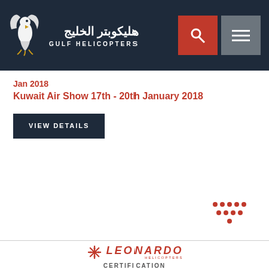هليكوبتر الخليج GULF HELICOPTERS
Jan 2018
Kuwait Air Show 17th - 20th January 2018
VIEW DETAILS
[Figure (logo): Leonardo Helicopters logo with starburst icon]
AUTHORIZED SERVICE CENTRE FOR AGUSTAWESTLAND PRODUCTS
CERTIFICATION